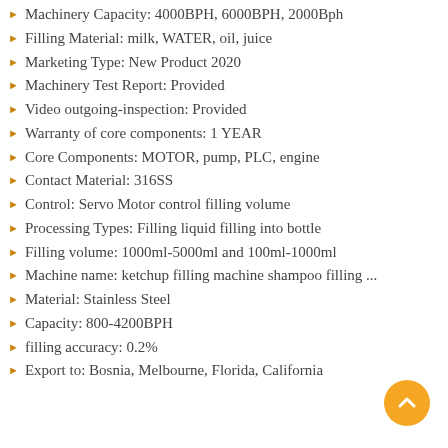Machinery Capacity: 4000BPH, 6000BPH, 2000Bph
Filling Material: milk, WATER, oil, juice
Marketing Type: New Product 2020
Machinery Test Report: Provided
Video outgoing-inspection: Provided
Warranty of core components: 1 YEAR
Core Components: MOTOR, pump, PLC, engine
Contact Material: 316SS
Control: Servo Motor control filling volume
Processing Types: Filling liquid filling into bottle
Filling volume: 1000ml-5000ml and 100ml-1000ml
Machine name: ketchup filling machine shampoo filling ...
Material: Stainless Steel
Capacity: 800-4200BPH
filling accuracy: 0.2%
Export to: Bosnia, Melbourne, Florida, California